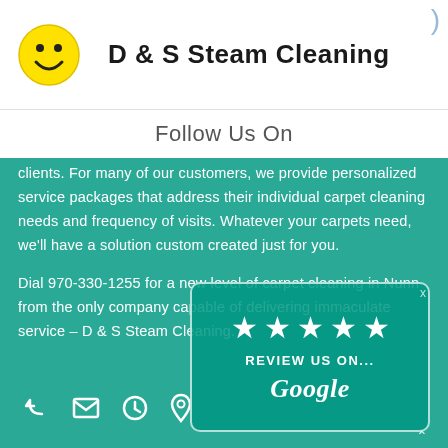D & S Steam Cleaning
Follow Us On
clients. For many of our customers, we provide personalized service packages that address their individual carpet cleaning needs and frequency of visits. Whatever your carpets need, we'll have a solution custom created just for you.
Dial 970-330-1255 for a new level of carpet cleaning in Nunn from the only company capable of delivering immaculate service – D & S Steam Cleaning.
[Figure (other): Row of white icons: phone/reply, envelope, clock, location pin on teal background]
[Figure (other): Google review widget with 5 white stars and text REVIEW US ON... Google on teal background with rounded rectangle border]